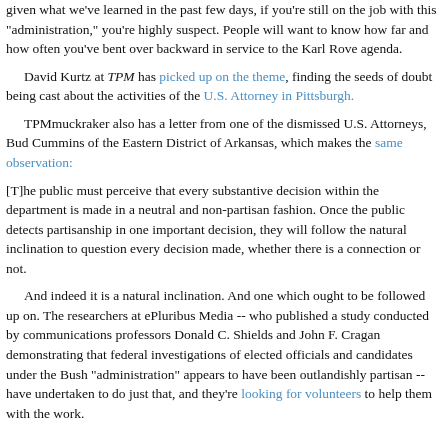given what we've learned in the past few days, if you're still on the job with this "administration," you're highly suspect. People will want to know how far and how often you've bent over backward in service to the Karl Rove agenda.
David Kurtz at TPM has picked up on the theme, finding the seeds of doubt being cast about the activities of the U.S. Attorney in Pittsburgh.
TPMmuckraker also has a letter from one of the dismissed U.S. Attorneys, Bud Cummins of the Eastern District of Arkansas, which makes the same observation:
[T]he public must perceive that every substantive decision within the department is made in a neutral and non-partisan fashion. Once the public detects partisanship in one important decision, they will follow the natural inclination to question every decision made, whether there is a connection or not.
And indeed it is a natural inclination. And one which ought to be followed up on. The researchers at ePluribus Media -- who published a study conducted by communications professors Donald C. Shields and John F. Cragan demonstrating that federal investigations of elected officials and candidates under the Bush "administration" appears to have been outlandishly partisan -- have undertaken to do just that, and they're looking for volunteers to help them with the work.